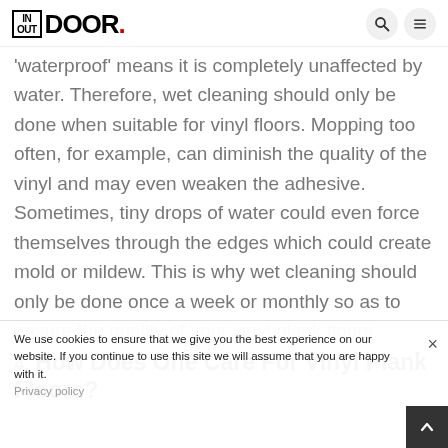IN OUT DOOR.
'waterproof' means it is completely unaffected by water. Therefore, wet cleaning should only be done when suitable for vinyl floors. Mopping too often, for example, can diminish the quality of the vinyl and may even weaken the adhesive. Sometimes, tiny drops of water could even force themselves through the edges which could create mold or mildew. This is why wet cleaning should only be done once a week or monthly so as to ensure the quality of your vinyl plank floors.
4. How Does One Care For Vinyl Plank Floors?
We use cookies to ensure that we give you the best experience on our website. If you continue to use this site we will assume that you are happy with it.
Privacy policy